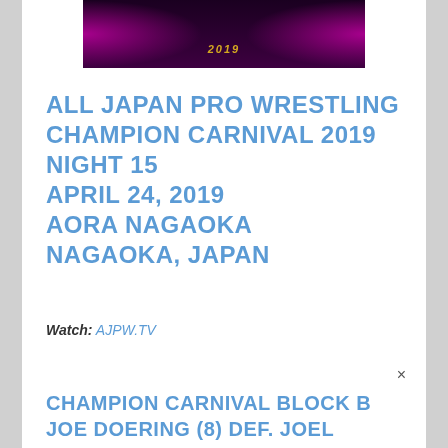[Figure (photo): Champion Carnival 2019 event banner with pink/magenta smoke effects on dark background, gold '2019' text]
ALL JAPAN PRO WRESTLING CHAMPION CARNIVAL 2019 NIGHT 15 APRIL 24, 2019 AORA NAGAOKA NAGAOKA, JAPAN
Watch: AJPW.TV
CHAMPION CARNIVAL BLOCK B JOE DOERING (8) DEF. JOEL REDMAN